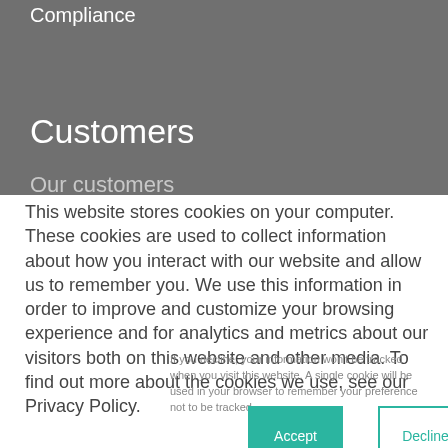Compliance
Customers
Our customers
This website stores cookies on your computer. These cookies are used to collect information about how you interact with our website and allow us to remember you. We use this information in order to improve and customize your browsing experience and for analytics and metrics about our visitors both on this website and other media. To find out more about the cookies we use, see our Privacy Policy.
If you decline, your information won't be tracked when you visit this website. A single cookie will be used in your browser to remember your preference not to be tracked.
Accept
Decline